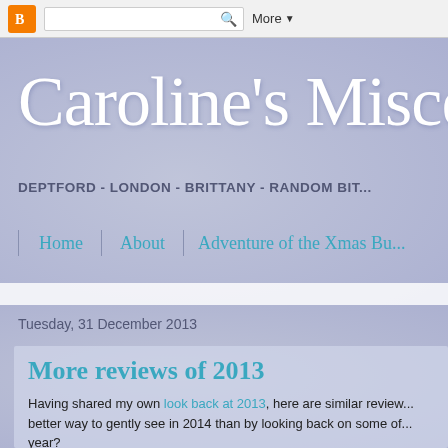[Figure (screenshot): Blogger navigation bar at top with orange B icon, search box, and More button]
Caroline's Miscell...
DEPTFORD - LONDON - BRITTANY - RANDOM BIT...
Home | About | Adventure of the Xmas Bu...
Tuesday, 31 December 2013
More reviews of 2013
Having shared my own look back at 2013, here are similar reviews... better way to gently see in 2014 than by looking back on some of... year?